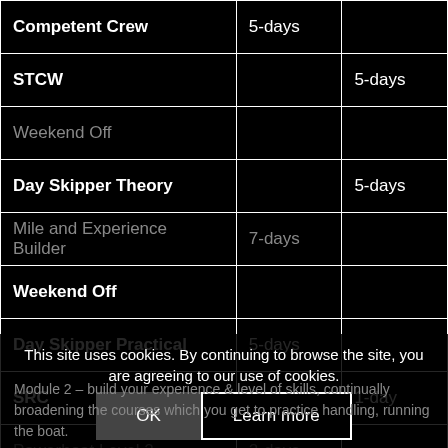| Course | Duration 1 | Duration 2 |
| --- | --- | --- |
| Competent Crew | 5-days |  |
| STCW |  | 5-days |
| Weekend Off |  |  |
| Day Skipper Theory |  | 5-days |
| Mile and Experience Builder | 7-days |  |
| Weekend Off |  |  |
| Day Skipper Practical | 5-days |  |
| SRC |  | 1-day |
| Powerboat Level 2 | 2-days |  |
This site uses cookies. By continuing to browse the site, you are agreeing to our use of cookies.
Module 2 – build your experience & level of skills, continually broadening the courses which you get to practice handling, running the boat.